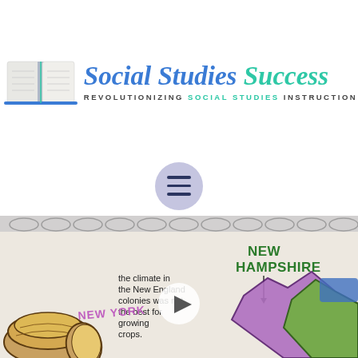[Figure (logo): Social Studies Success logo with open book illustration and script/sans-serif text. Tagline: REVOLUTIONIZING SOCIAL STUDIES INSTRUCTION]
[Figure (illustration): Hamburger menu icon (three horizontal lines) inside a light purple/lavender circle]
[Figure (screenshot): Video thumbnail showing a hand-drawn educational doodle about New England Colonies. Text visible: 'NEW HAMPSHIRE', 'NEW YORK', 'the climate in the New England colonies was not the best for growing crops.' Illustrations of bread loaves and colored mountain/state shapes in purple and green. Play button overlay in center.]